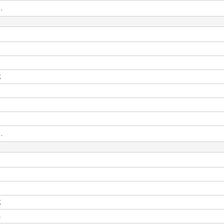| Field | Value |
| --- | --- |
|  | View Homepage |
| alita93 | alita |
| Location: | - |
| Country: | - |
| Time Zone: | (GMT+08:00) K... |
| E-mail: | alita93 at loson... |
| Alternate E-mail: |  |
| Internet Messaging: |  |
|  | View Homepage |
| ali_mahpal | MOHD ALI BIN... |
| Location: | - |
| Country: | - |
| Time Zone: | (GMT+08:00) K... |
| E-mail: | ali_mahpal at h... |
| Alternate E-mail: |  |
| Internet Messaging: |  |
|  |  |